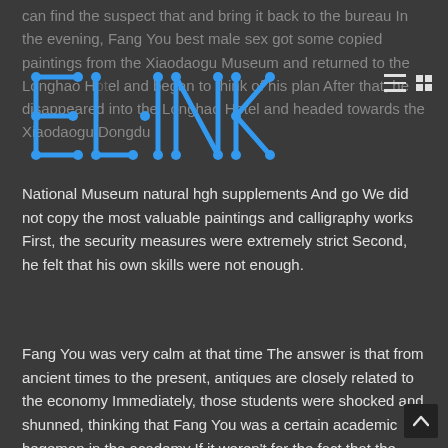can find the suspect that and bring it back to the bureau In the evening, Fang You best male sex got some copied paintings from the Xiaodaogu Museum and returned to the Longhao Hotel and began to think of his plan After that, he disappeared into the Longhao Hotel and headed towards the Xiaodaogu Dongdu
[Figure (logo): ELINK logo — stylized letters E, L, I, N, K in blue with dot-and-line connector nodes on dark background]
National Museum natural hgh supplements And go We did not copy the most valuable paintings and calligraphy works First, the security measures were extremely strict Second, he felt that his own skills were not enough.
Fang You was very calm at that time The answer is that from ancient times to the present, antiques are closely related to the economy Immediately, those students were shocked and shunned, thinking that Fang You was a certain academic hegemon in the academy If it weren't for the fact that the French auction house was preparing to auction the animal heads this time, he would not have attended this exchange meeting Of course, at this exchange meeting, if the Louvre Museum only had south French cultural relics, it would be